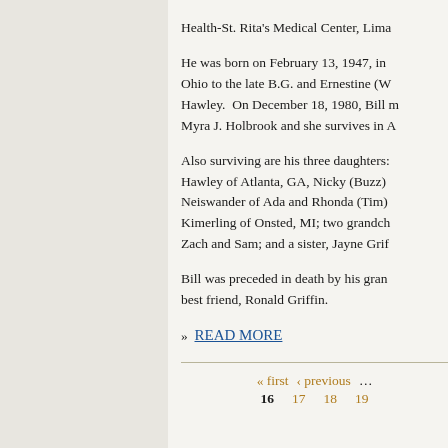Health-St. Rita's Medical Center, Lima
He was born on February 13, 1947, in Ohio to the late B.G. and Ernestine (W Hawley.  On December 18, 1980, Bill m Myra J. Holbrook and she survives in A
Also surviving are his three daughters: Hawley of Atlanta, GA, Nicky (Buzz) Neiswander of Ada and Rhonda (Tim) Kimerling of Onsted, MI; two grandch Zach and Sam; and a sister, Jayne Grif
Bill was preceded in death by his gran best friend, Ronald Griffin.
» READ MORE
« first  ‹ previous  ...  16  17  18  19